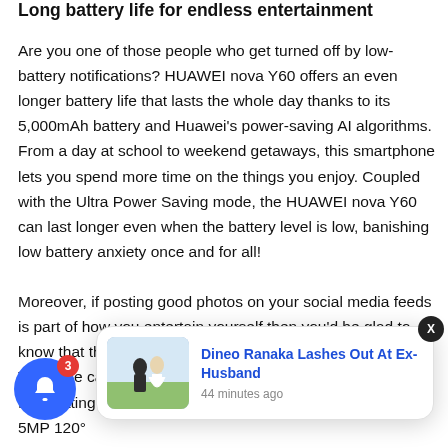Long battery life for endless entertainment
Are you one of those people who get turned off by low-battery notifications? HUAWEI nova Y60 offers an even longer battery life that lasts the whole day thanks to its 5,000mAh battery and Huawei's power-saving AI algorithms. From a day at school to weekend getaways, this smartphone lets you spend more time on the things you enjoy. Coupled with the Ultra Power Saving mode, the HUAWEI nova Y60 can last longer even when the battery level is low, banishing low battery anxiety once and for all!

Moreover, if posting good photos on your social media feeds is part of how you entertain yourself then you'd be glad to know that the HUAWEI The ple camera f/1.8 large aperture to capture more light for creating high-res images during the day or at night. The 5MP 120°
[Figure (screenshot): Notification popup card showing 'Dineo Ranaka Lashes Out At Ex-Husband' with a photo of a couple and timestamp '44 minutes ago'. Also shows a blue notification bell icon with badge count 3 and a close (X) button.]